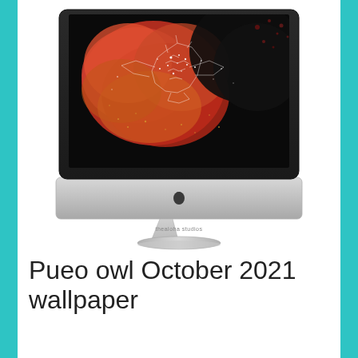[Figure (illustration): An iMac desktop computer mockup displaying a colorful wallpaper featuring an owl illustration on a red/black alcohol ink background with sparkles and constellation lines. The watermark 'thealoha studios' appears on the monitor stand area.]
Pueo owl October 2021 wallpaper